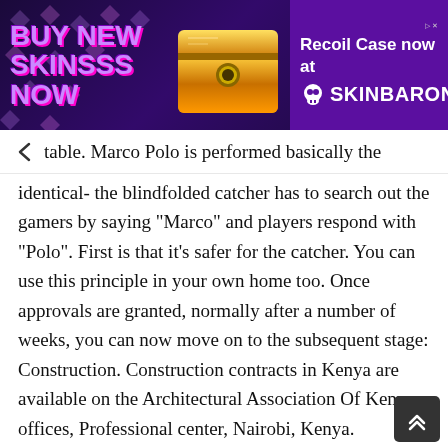[Figure (screenshot): Advertisement banner for SkinBaron featuring 'BUY NEW SKINSSS NOW' text with a golden chest image and 'Recoil Case now at SKINBARON' branding on purple background]
table. Marco Polo is performed basically the identical- the blindfolded catcher has to search out the gamers by saying "Marco" and players respond with "Polo". First is that it's safer for the catcher. You can use this principle in your own home too. Once approvals are granted, normally after a number of weeks, you can now move on to the subsequent stage: Construction. Construction contracts in Kenya are available on the Architectural Association Of Kenya offices, Professional center, Nairobi, Kenya. Mortgage finance is available from Housing Finance, KCB Savings and Loan, Barclays, Equity Bank, Standard Chartered, Stanbic or any other financial establishment in Kenya.

Your architect will print the house plan in A1